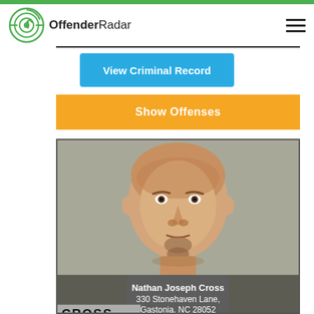OffenderRadar
View Criminal Record
Show Offenses
[Figure (photo): Mugshot of Nathan Joseph Cross, a middle-aged bald white male with a goatee, wearing a grey shirt. Text overlay: Nathan Joseph Cross, 330 Stonehaven Lane, Gastonia, NC 28052. Bottom label: CROSS]